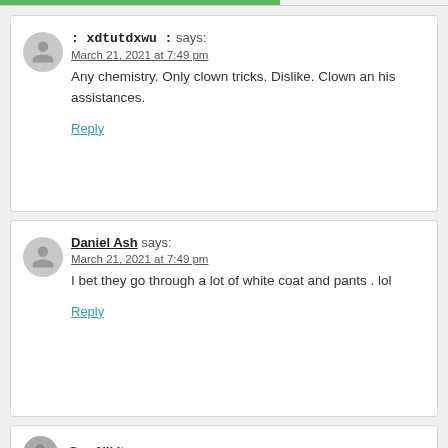: xdtutdxwu : says:
March 21, 2021 at 7:49 pm
Any chemistry. Only clown tricks. Dislike. Clown an his assistances.
Reply
Daniel Ash says:
March 21, 2021 at 7:49 pm
I bet they go through a lot of white coat and pants . lol
Reply
SemNikit says: